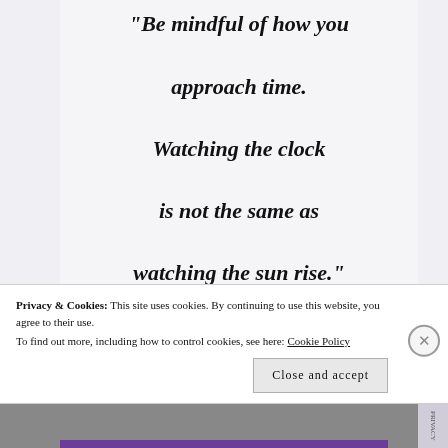“Be mindful of how you approach time. Watching the clock is not the same as watching the sun rise.”
~ Sophia Bedford-Pierce
Privacy & Cookies: This site uses cookies. By continuing to use this website, you agree to their use. To find out more, including how to control cookies, see here: Cookie Policy